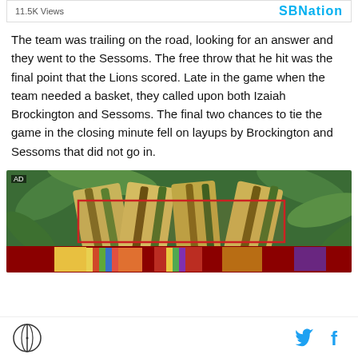11.5K Views
The team was trailing on the road, looking for an answer and they went to the Sessoms. The free throw that he hit was the final point that the Lions scored. Late in the game when the team needed a basket, they called upon both Izaiah Brockington and Sessoms. The final two chances to tie the game in the closing minute fell on layups by Brockington and Sessoms that did not go in.
[Figure (photo): Advertisement image showing tropical plant leaves with a red-bordered inset ad panel, and colorful fabric/merchandise below.]
Site logo, Twitter icon, Facebook icon